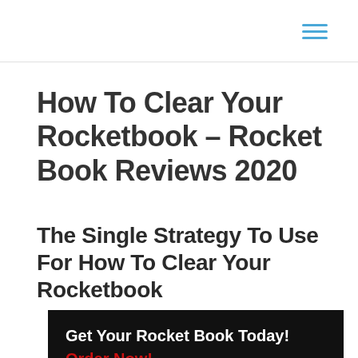≡
How To Clear Your Rocketbook – Rocket Book Reviews 2020
The Single Strategy To Use For How To Clear Your Rocketbook
Get Your Rocket Book Today! Order Now!